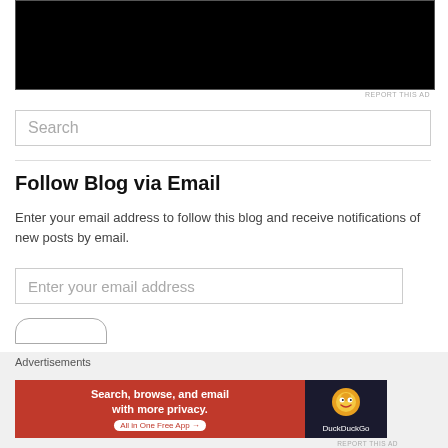[Figure (other): Black video/advertisement block at top of page]
REPORT THIS AD
Search
Follow Blog via Email
Enter your email address to follow this blog and receive notifications of new posts by email.
Enter your email address
Advertisements
[Figure (other): DuckDuckGo advertisement banner: Search, browse, and email with more privacy. All in One Free App]